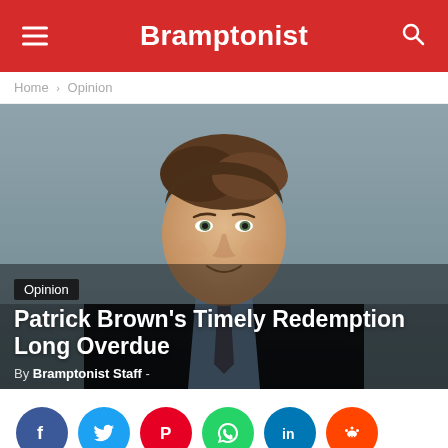Bramptonist
Home › Opinion
[Figure (photo): Portrait photo of Patrick Brown, a man in a dark suit and blue shirt, smiling, overlaid with the article title and byline.]
Patrick Brown's Timely Redemption Long Overdue
By Bramptonist Staff -
[Figure (infographic): Row of social media share buttons: Facebook (blue), Twitter (light blue), Pinterest (red), WhatsApp (green), LinkedIn (dark blue), Reddit (orange).]